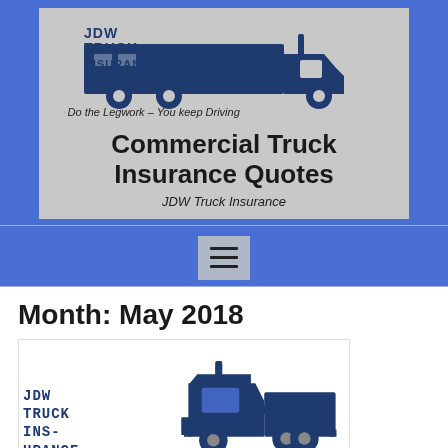[Figure (logo): JDW Truck Insurance logo with dark blue semi-truck silhouette and text 'JDW TRUCK INSURANCE' with tagline 'We Do the Legwork - You keep Driving']
Commercial Truck Insurance Quotes
JDW Truck Insurance
[Figure (other): Hamburger/menu icon button (three horizontal lines)]
Month: May 2018
[Figure (logo): JDW Truck Insurance logo with dark blue semi-truck silhouette viewed from side, with 'JDW TRUCK INSURANCE' text on left]